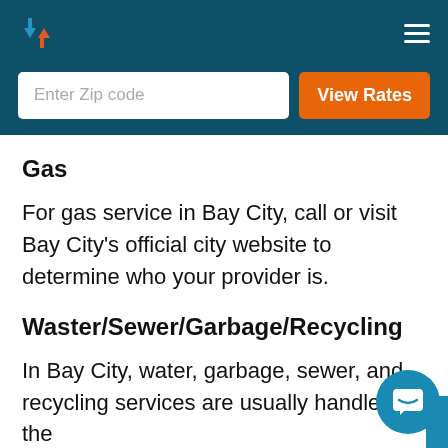[Logo with up/down arrows] [Hamburger menu]
[Figure (screenshot): Search bar with 'Enter Zip code' input and orange 'View Rates' button on dark teal background]
Gas
For gas service in Bay City, call or visit Bay City's official city website to determine who your provider is.
Waster/Sewer/Garbage/Recycling
In Bay City, water, garbage, sewer, and recycling services are usually handled by the